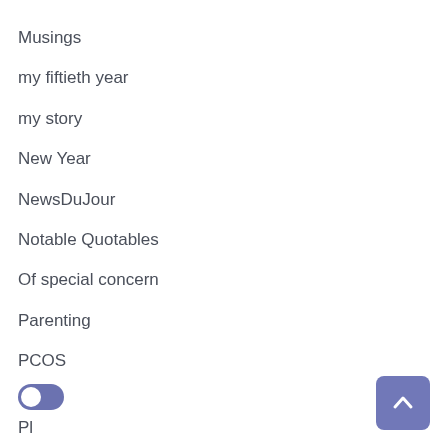Musings
my fiftieth year
my story
New Year
NewsDuJour
Notable Quotables
Of special concern
Parenting
PCOS
Pl…